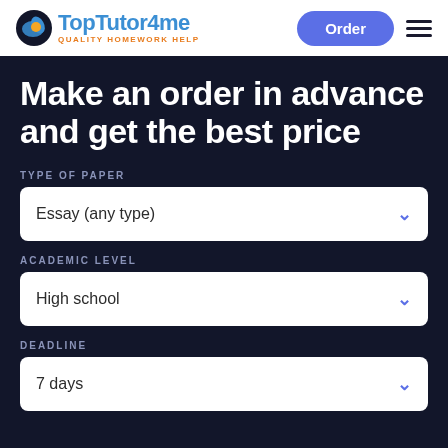TopTutor4me — QUALITY HOMEWORK HELP | Order
Make an order in advance and get the best price
TYPE OF PAPER
Essay (any type)
ACADEMIC LEVEL
High school
DEADLINE
7 days